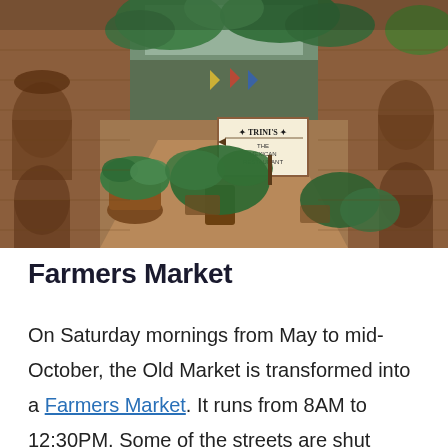[Figure (photo): Interior courtyard of a brick building with arched niches, tropical plants in terracotta pots, and a sign reading 'TRINI'S THE MEXICAN RESTAURANT' visible in the background. Brick walls line both sides of the passage.]
Farmers Market
On Saturday mornings from May to mid-October, the Old Market is transformed into a Farmers Market. It runs from 8AM to 12:30PM. Some of the streets are shut